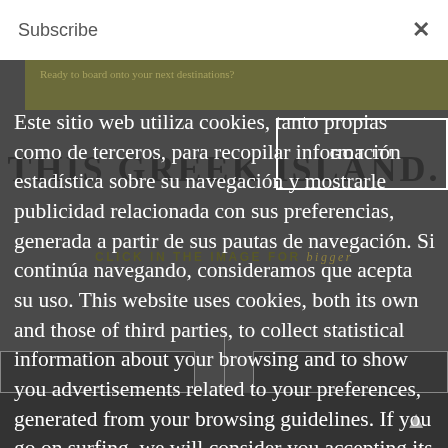Subscribe  ×
Este sitio web utiliza cookies, tanto propias como de terceros, para recopilar información estadística sobre su navegación y mostrarle publicidad relacionada con sus preferencias, generada a partir de sus pautas de navegación. Si continúa navegando, consideramos que acepta su uso. This website uses cookies, both its own and those of third parties, to collect statistical information about your browsing and to show you advertisements related to your preferences, generated from your browsing guidelines. If you go on surfing, we will consider you accepting its use.
[Figure (screenshot): Background page showing 'Ready to board onto your next destinations?' olive banner, 'THIS GREEK ISLAND.' heading, and 'CLICK IN THE IMAGE FOR bigger' text with navigation thumbnails]